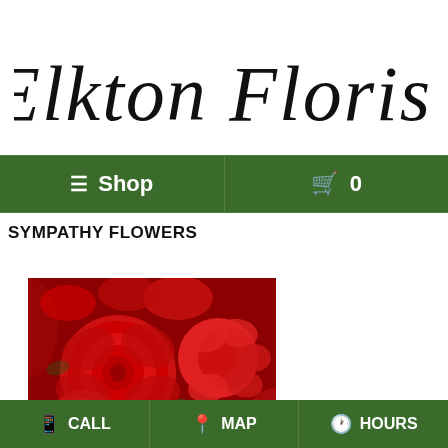Elkton Florist
≡ Shop   🛒 0
SYMPATHY FLOWERS
[Figure (photo): Close-up photo of red roses and red carnations arranged together]
CALL   MAP   HOURS